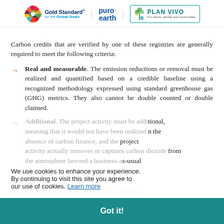[Figure (logo): Three logos: Gold Standard for the Global Goals (with SDG colorful wheel), puro.earth, and Plan Vivo]
Carbon credits that are verified by one of these registries are generally required to meet the following criteria:
Real and measurable. The emission reductions or removal must be realized and quantified based on a credible baseline using a recognized methodology expressed using standard greenhouse gas (GHG) metrics. They also cannot be double counted or double claimed.
Additional. The project activity must be additional, meaning that it would not have been realized in the absence of carbon finance, and the project activity actually removes or captures carbon dioxide from the atmosphere beyond a business-as-usual scenario.
We use cookies to enhance your experience. By continuing to visit this site you agree to our use of cookies. Learn more
Permanent. Carbon credits must represent